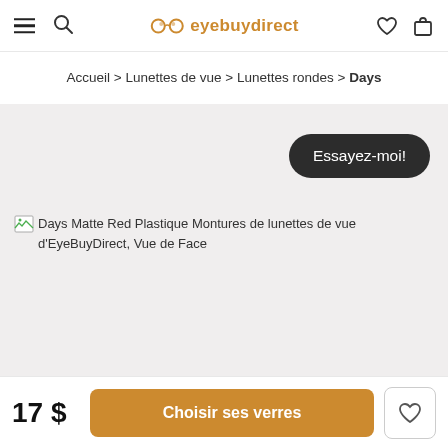eyebuydirect
Accueil > Lunettes de vue > Lunettes rondes > Days
Essayez-moi!
[Figure (photo): Days Matte Red Plastique Montures de lunettes de vue d'EyeBuyDirect, Vue de Face — product image area (broken/loading image shown with alt text)]
17 $
Choisir ses verres